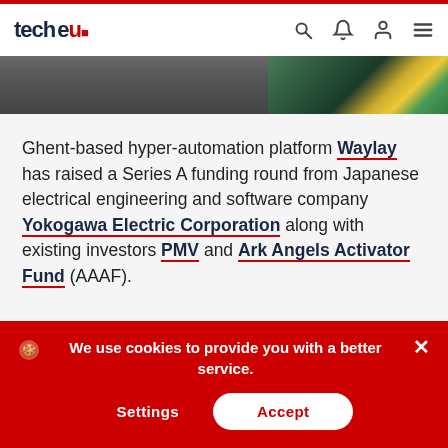tech.eu — navigation header with logo, search, bell, user, and menu icons
[Figure (photo): Partial image at top of article, showing industrial/infrastructure scene with diagonal colored stripes on the right]
Ghent-based hyper-automation platform Waylay has raised a Series A funding round from Japanese electrical engineering and software company Yokogawa Electric Corporation along with existing investors PMV and Ark Angels Activator Fund (AAAF).
The cash injection will be used to grow its team,
We use cookies to provide you with a better service.
Settings    Accept